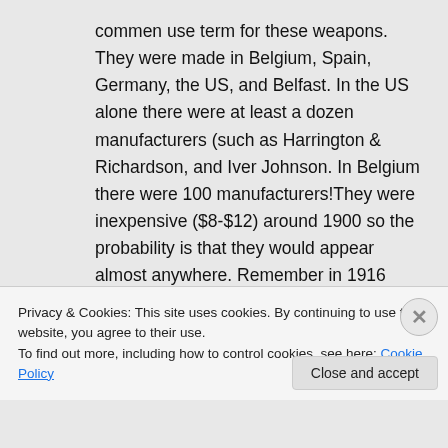commen use term for these weapons. They were made in Belgium, Spain, Germany, the US, and Belfast. In the US alone there were at least a dozen manufacturers (such as Harrington & Richardson, and Iver Johnson. In Belgium there were 100 manufacturers!They were inexpensive ($8-$12) around 1900 so the probability is that they would appear almost anywhere. Remember in 1916 Ireland (treated as a separate entity and not REALLY part of the
Privacy & Cookies: This site uses cookies. By continuing to use this website, you agree to their use.
To find out more, including how to control cookies, see here: Cookie Policy
Close and accept